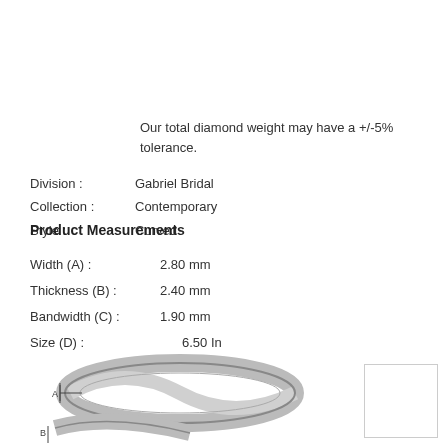Our total diamond weight may have a +/-5% tolerance.
Division : Gabriel Bridal
Collection : Contemporary
Style : Curved
Product Measurements
Width (A) : 2.80 mm
Thickness (B) : 2.40 mm
Bandwidth (C) : 1.90 mm
Size (D) : 6.50 In
[Figure (illustration): Curved wedding band ring shown from side angle with measurement indicator A marking width, and partial second view with B marker]